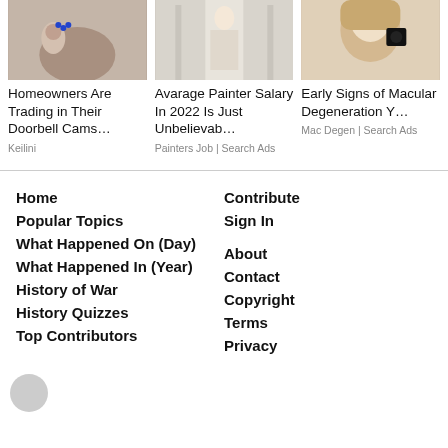[Figure (photo): Photo of a hand holding a doorbell camera device]
[Figure (photo): Photo of a painter in white clothes standing indoors]
[Figure (photo): Photo of a woman covering part of her face with a hat]
Homeowners Are Trading in Their Doorbell Cams…
Avarage Painter Salary In 2022 Is Just Unbelievab…
Early Signs of Macular Degeneration Y…
Keilini
Painters Job | Search Ads
Mac Degen | Search Ads
Home
Popular Topics
What Happened On (Day)
What Happened In (Year)
History of War
History Quizzes
Top Contributors
Contribute
Sign In
About
Contact
Copyright
Terms
Privacy